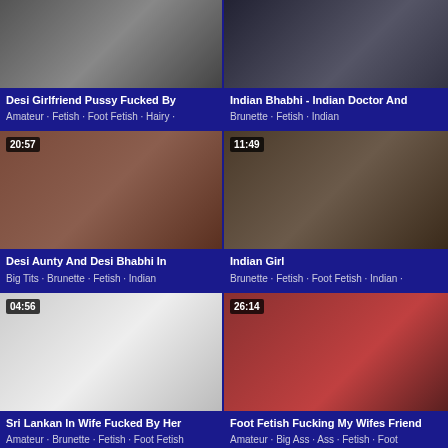[Figure (screenshot): Video thumbnail grid showing adult content listings with titles and tags]
Desi Girlfriend Pussy Fucked By
Amateur · Fetish · Foot Fetish · Hairy ·
Indian Bhabhi - Indian Doctor And
Brunette · Fetish · Indian
Desi Aunty And Desi Bhabhi In
Big Tits · Brunette · Fetish · Indian
Indian Girl
Brunette · Fetish · Foot Fetish · Indian ·
Sri Lankan In Wife Fucked By Her
Amateur · Brunette · Fetish · Foot Fetish
Foot Fetish Fucking My Wifes Friend
Amateur · Big Ass · Ass · Fetish · Foot